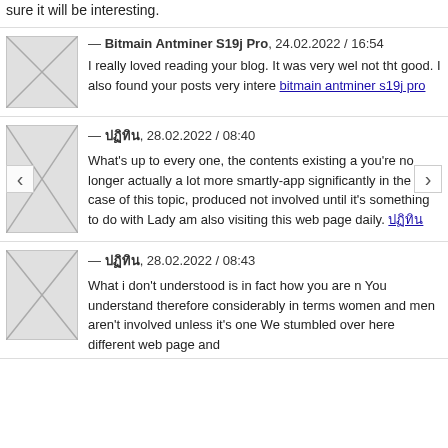sure it will be interesting.
— Bitmain Antminer S19j Pro, 24.02.2022 / 16:54
I really loved reading your blog. It was very well not tht good. I also found your posts very interesting. bitmain antminer s19j pro
— ปฏิทิน, 28.02.2022 / 08:40
What's up to every one, the contents existing at you're no longer actually a lot more smartly-app significantly in the case of this topic, produced not involved until it's something to do with Lady am also visiting this web page daily. ปฏิทิน
— ปฏิทิน, 28.02.2022 / 08:43
What i don't understood is in fact how you are n You understand therefore considerably in terms women and men aren't involved unless it's one We stumbled over here different web page and